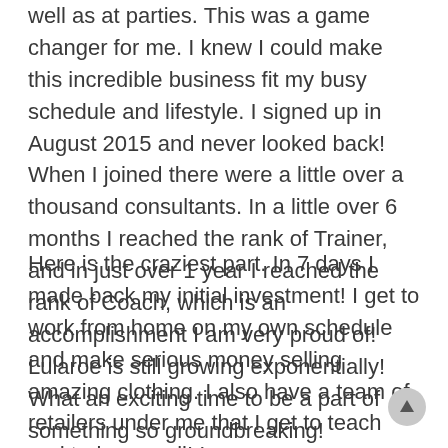well as at parties. This was a game changer for me. I knew I could make this incredible business fit my busy schedule and lifestyle. I signed up in August 2015 and never looked back! When I joined there were a little over a thousand consultants. In a little over 6 months I reached the rank of Trainer, and in just over 1 year I reached the rank of Coach, which is an accomplishment I am very proud of! Lularoe is still growing exponentially! What an exciting time to be a part of something so groundbreaking!
Here is the craziest part. In 7 days I made back my initial investment! I get to work from home on my own schedule and make serious money selling amazing clothing. I also have a team of retailers under me that I get to teach and train as well! I am